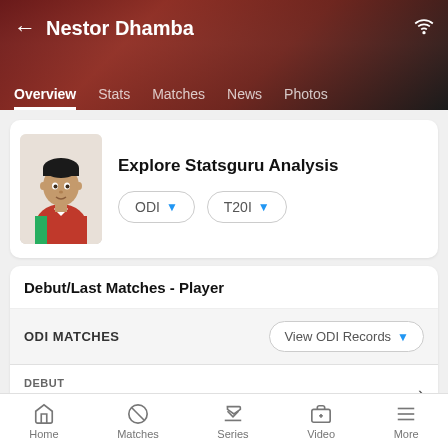Nestor Dhamba
Overview
Stats
Matches
News
Photos
Explore Statsguru Analysis
ODI
T20I
Debut/Last Matches - Player
ODI MATCHES
View ODI Records
DEBUT
Oman vs Nepal at Al Amerat- September 14, 2021
Home | Matches | Series | Video | More